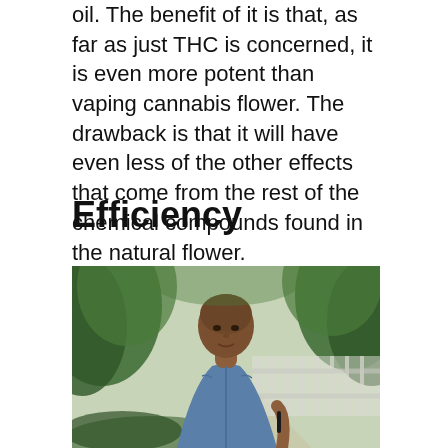oil. The benefit of it is that, as far as just THC is concerned, it is even more potent than vaping cannabis flower. The drawback is that it will have even less of the other effects that come from the rest of the chemical compounds found in the natural flower.
Efficiency
[Figure (photo): A woman with a shaved head wearing a denim jacket holds a vape pen outdoors, surrounded by blurred green foliage and a white fence in the background.]